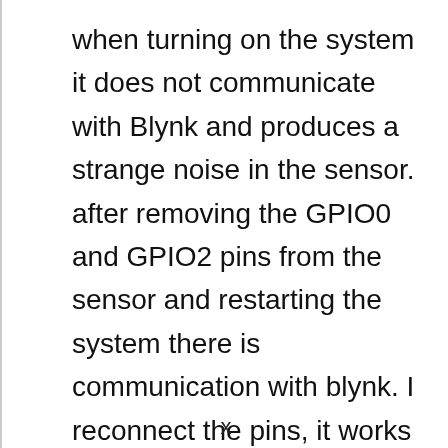when turning on the system it does not communicate with Blynk and produces a strange noise in the sensor. after removing the GPIO0 and GPIO2 pins from the sensor and restarting the system there is communication with blynk. I reconnect the pins, it works normally, what will
x